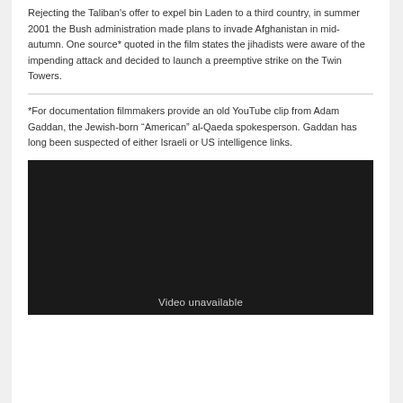Rejecting the Taliban’s offer to expel bin Laden to a third country, in summer 2001 the Bush administration made plans to invade Afghanistan in mid-autumn. One source* quoted in the film states the jihadists were aware of the impending attack and decided to launch a preemptive strike on the Twin Towers.
*For documentation filmmakers provide an old YouTube clip from Adam Gaddan, the Jewish-born “American” al-Qaeda spokesperson. Gaddan has long been suspected of either Israeli or US intelligence links.
[Figure (other): Embedded video player showing 'Video unavailable' message on dark background]